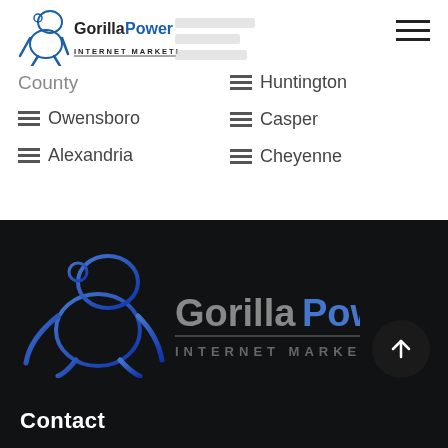[Figure (logo): GorillaPower Internet Marketing logo - gorilla silhouette with text]
County
Huntington
Owensboro
Casper
Alexandria
Cheyenne
[Figure (logo): GorillaPower Internet Marketing footer logo - large gorilla with blue gradient and INTERNET MARKETING text]
Contact